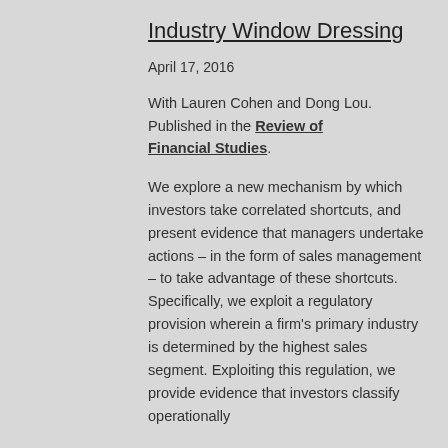Industry Window Dressing
April 17, 2016
With Lauren Cohen and Dong Lou. Published in the Review of Financial Studies.
We explore a new mechanism by which investors take correlated shortcuts, and present evidence that managers undertake actions – in the form of sales management – to take advantage of these shortcuts. Specifically, we exploit a regulatory provision wherein a firm's primary industry is determined by the highest sales segment. Exploiting this regulation, we provide evidence that investors classify operationally